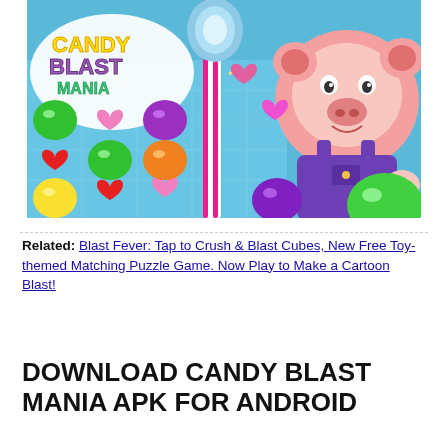[Figure (screenshot): Candy Blast Mania game promotional image showing colorful candy pieces on a grid board with a cheerful pink pig character wearing purple overalls, a candy cane in the center, and the 'Candy Blast Mania' logo in the upper left corner in yellow and purple text.]
Related: Blast Fever: Tap to Crush & Blast Cubes, New Free Toy-themed Matching Puzzle Game. Now Play to Make a Cartoon Blast!
DOWNLOAD CANDY BLAST MANIA APK FOR ANDROID